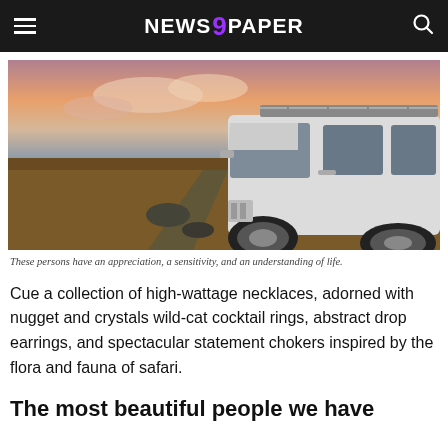NEWS 9 PAPER
[Figure (photo): A white Land Rover SUV with a roof rack on a rough dirt road in a barren landscape at sunset, shot from a low angle at the front-right side of the vehicle.]
These persons have an appreciation, a sensitivity, and an understanding of life.
Cue a collection of high-wattage necklaces, adorned with nugget and crystals wild-cat cocktail rings, abstract drop earrings, and spectacular statement chokers inspired by the flora and fauna of safari.
The most beautiful people we have